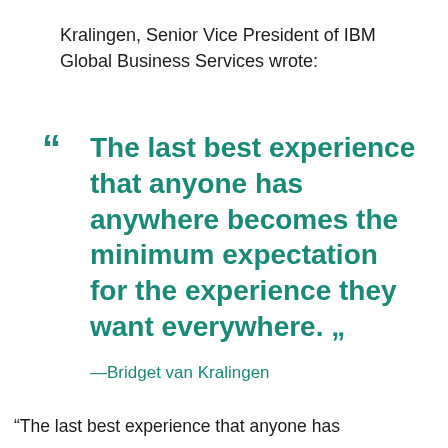Kralingen, Senior Vice President of IBM Global Business Services wrote:
“ The last best experience that anyone has anywhere becomes the minimum expectation for the experience they want everywhere. „
—Bridget van Kralingen
“The last best experience that anyone has